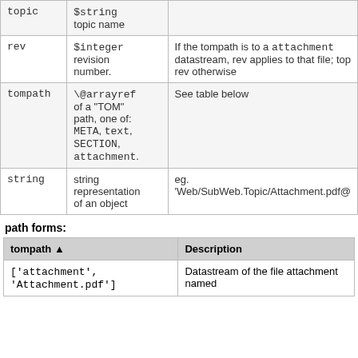|  |  |  |
| --- | --- | --- |
| topic | $string
topic name |  |
| rev | $integer
revision
number. | If the tompath is to a attachment
datastream, rev applies to that file; top rev otherwise |
| tompath | \@arrayref
of a "TOM"
path, one of:
META, text,
SECTION,
attachment. | See table below |
| string | string
representation
of an object | eg.
'Web/SubWeb.Topic/Attachment.pdf@… |
path forms:
| tompath ▲ | Description |
| --- | --- |
| ['attachment',
'Attachment.pdf'] | Datastream of the file attachment named |